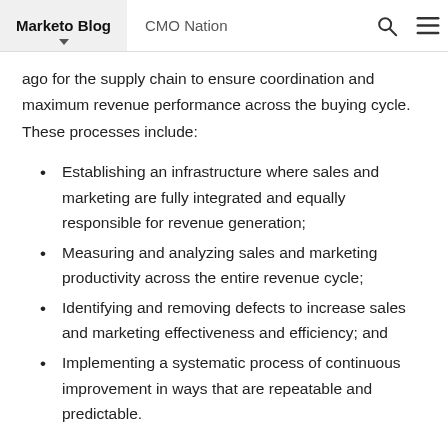Marketo Blog   CMO Nation
ago for the supply chain to ensure coordination and maximum revenue performance across the buying cycle. These processes include:
Establishing an infrastructure where sales and marketing are fully integrated and equally responsible for revenue generation;
Measuring and analyzing sales and marketing productivity across the entire revenue cycle;
Identifying and removing defects to increase sales and marketing effectiveness and efficiency; and
Implementing a systematic process of continuous improvement in ways that are repeatable and predictable.
Many individuals I have talked to agree that these revenue-related changes require a fundamental shift in both